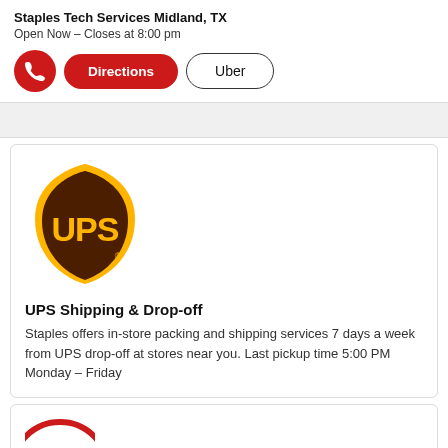Staples Tech Services Midland, TX
Open Now – Closes at 8:00 pm
[Figure (other): Action buttons row: phone icon (red circle), Directions button (red pill), Uber button (outlined pill)]
[Figure (logo): UPS shield logo — brown and gold with UPS text and registered trademark symbol]
UPS Shipping & Drop-off
Staples offers in-store packing and shipping services 7 days a week from UPS drop-off at stores near you. Last pickup time 5:00 PM Monday – Friday
[Figure (logo): Partially visible red circle logo at bottom of page]